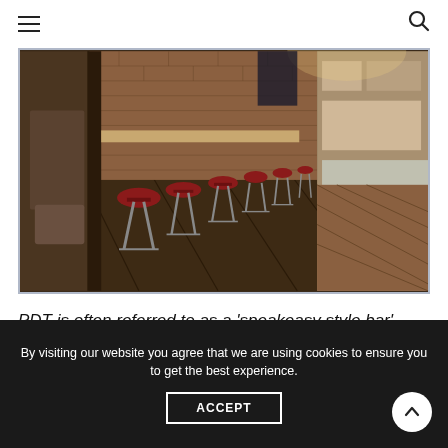Navigation bar with hamburger menu and search icon
[Figure (photo): Interior of PDT bar showing red bar stools along a wooden bar counter, brick walls, warm lighting, and hardwood floors.]
PDT is often referred to as a ‘speakeasy style bar’. What exactly does this mean?
By visiting our website you agree that we are using cookies to ensure you to get the best experience.